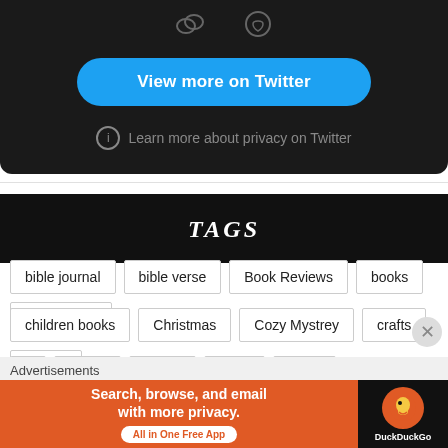[Figure (screenshot): Twitter embed widget showing icons, a 'View more on Twitter' blue button, and a privacy notice.]
TAGS
bible journal
bible verse
Book Reviews
books
cardmaking
children books
Christmas
Cozy Mystrey
crafts
culture
Advertisements
[Figure (screenshot): DuckDuckGo advertisement banner: 'Search, browse, and email with more privacy. All in One Free App' with DuckDuckGo logo on right.]